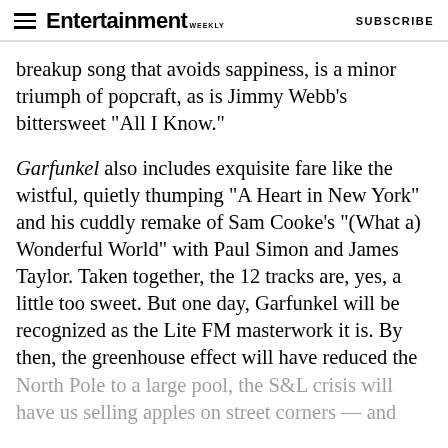Entertainment Weekly  SUBSCRIBE
breakup song that avoids sappiness, is a minor triumph of popcraft, as is Jimmy Webb's bittersweet “All I Know.”
Garfunkel also includes exquisite fare like the wistful, quietly thumping “A Heart in New York” and his cuddly remake of Sam Cooke’s “(What a) Wonderful World” with Paul Simon and James Taylor. Taken together, the 12 tracks are, yes, a little too sweet. But one day, Garfunkel will be recognized as the Lite FM masterwork it is. By then, the greenhouse effect will have reduced the North Pole to a large pool, the S&L crisis will have us selling apples on street corners — and